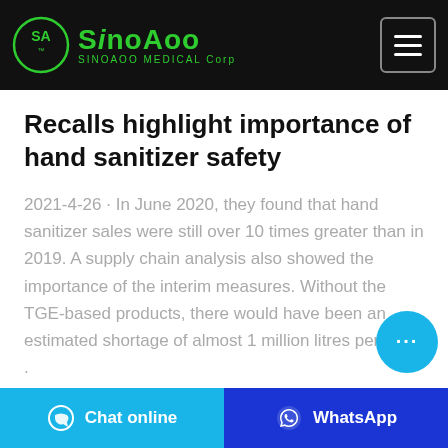SinoAoo - SINOAOO MEDICAL Corp
Recalls highlight importance of hand sanitizer safety
2021-4-26 · In June 2020, they found that hand sanitizer sales were still over 10 times greater than in 2019. A supply chain analysis also showed the importance of the interim measures. Without the TGE-based products, there would have been an estimated shortage of almost 1 million litres per week .
Chat online | WhatsApp